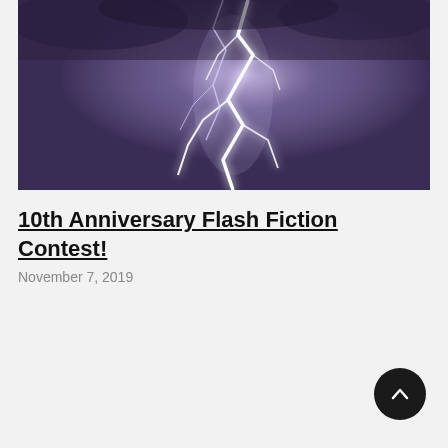[Figure (photo): Lightning bolt striking against a dark purple/violet stormy sky, with bright white forked lightning branches visible.]
10th Anniversary Flash Fiction Contest!
November 7, 2019